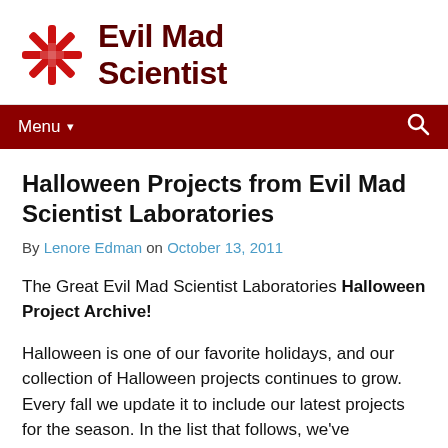[Figure (logo): Evil Mad Scientist logo with red starburst/asterisk icon and dark red bold text reading 'Evil Mad Scientist']
Menu ▾  🔍
Halloween Projects from Evil Mad Scientist Laboratories
By Lenore Edman on October 13, 2011
The Great Evil Mad Scientist Laboratories Halloween Project Archive!
Halloween is one of our favorite holidays, and our collection of Halloween projects continues to grow. Every fall we update it to include our latest projects for the season. In the list that follows, we've